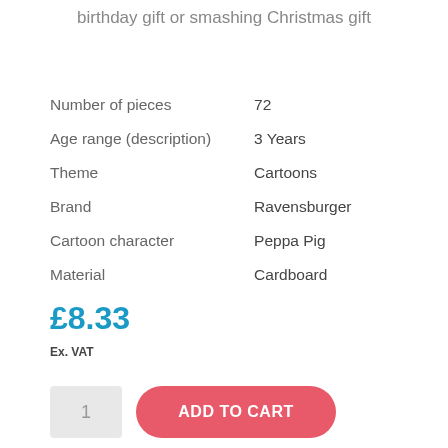birthday gift or smashing Christmas gift
| Number of pieces | 72 |
| Age range (description) | 3 Years |
| Theme | Cartoons |
| Brand | Ravensburger |
| Cartoon character | Peppa Pig |
| Material | Cardboard |
£8.33
Ex. VAT
1
ADD TO CART